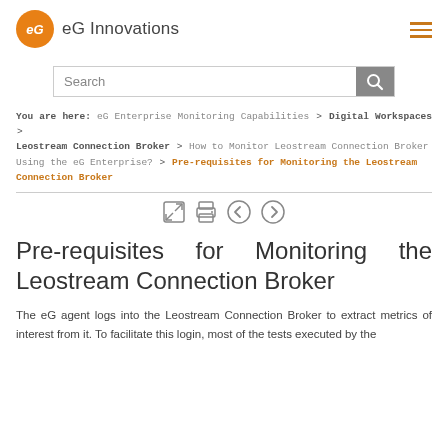eG Innovations
You are here: eG Enterprise Monitoring Capabilities > Digital Workspaces > Leostream Connection Broker > How to Monitor Leostream Connection Broker Using the eG Enterprise? > Pre-requisites for Monitoring the Leostream Connection Broker
Pre-requisites for Monitoring the Leostream Connection Broker
The eG agent logs into the Leostream Connection Broker to extract metrics of interest from it. To facilitate this login, most of the tests executed by the